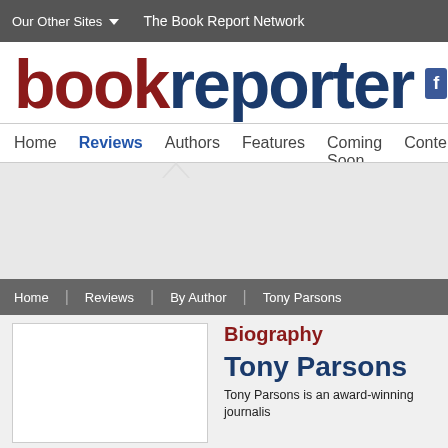Our Other Sites   The Book Report Network
bookreporter
Home  Reviews  Authors  Features  Coming Soon  Conte
Home  Reviews  By Author  Tony Parsons
Biography
Tony Parsons
Tony Parsons is an award-winning journalis